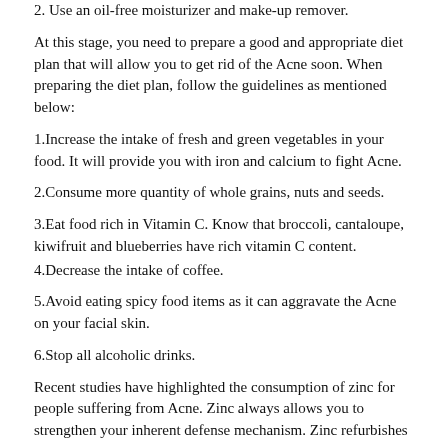2. Use an oil-free moisturizer and make-up remover.
At this stage, you need to prepare a good and appropriate diet plan that will allow you to get rid of the Acne soon. When preparing the diet plan, follow the guidelines as mentioned below:
1.Increase the intake of fresh and green vegetables in your food. It will provide you with iron and calcium to fight Acne.
2.Consume more quantity of whole grains, nuts and seeds.
3.Eat food rich in Vitamin C. Know that broccoli, cantaloupe, kiwifruit and blueberries have rich vitamin C content.
4.Decrease the intake of coffee.
5.Avoid eating spicy food items as it can aggravate the Acne on your facial skin.
6.Stop all alcoholic drinks.
Recent studies have highlighted the consumption of zinc for people suffering from Acne. Zinc always allows you to strengthen your inherent defense mechanism. Zinc refurbishes